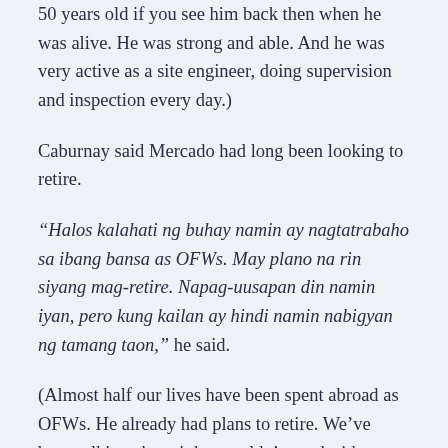50 years old if you see him back then when he was alive. He was strong and able. And he was very active as a site engineer, doing supervision and inspection every day.)
Caburnay said Mercado had long been looking to retire.
“Halos kalahati ng buhay namin ay nagtatrabaho sa ibang bansa as OFWs. May plano na rin siyang mag-retire. Napag-uusapan din namin iyan, pero kung kailan ay hindi namin nabigyan ng tamang taon,” he said.
(Almost half our lives have been spent abroad as OFWs. He already had plans to retire. We’ve been talking about it but couldn’t yet decide when.)